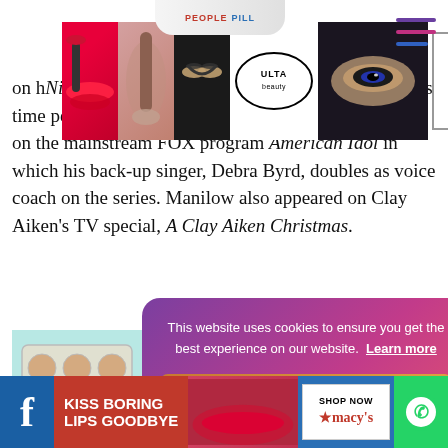[Figure (screenshot): Ulta Beauty advertisement banner with makeup images, Ulta logo, and Shop Now button]
[Figure (screenshot): People pill navigation tab at top of page]
[Figure (screenshot): Hamburger menu icon in top right corner]
on h... Night Live! One Last Time! tour. It was around this time period where Manilow appeared for the first time on the mainstream FOX program American Idol in which his back-up singer, Debra Byrd, doubles as voice coach on the series. Manilow also appeared on Clay Aiken's TV special, A Clay Aiken Christmas.
[Figure (photo): Baking tray with cookies/muffins on light blue background]
[Figure (screenshot): Cookie consent popup with gradient purple-pink background, text about cookies, Learn more link, and Got it button]
[Figure (screenshot): Bottom advertisement bar with Facebook icon, KISS BORING LIPS GOODBYE text in red, lip model photo, Shop Now / Macy's ad, and WhatsApp icon]